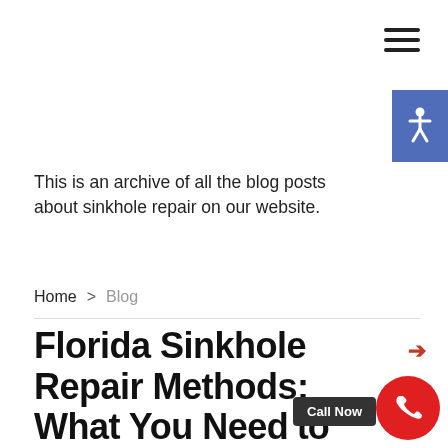[Figure (other): Hamburger menu icon (three horizontal lines) in top right corner]
[Figure (other): Accessibility icon button (wheelchair symbol) on right side, blue background]
This is an archive of all the blog posts about sinkhole repair on our website.
Home > Blog
Florida Sinkhole Repair Methods: What You Need to Know
[Figure (other): Red right arrow navigation button]
[Figure (other): Call Now button with red circle phone icon]